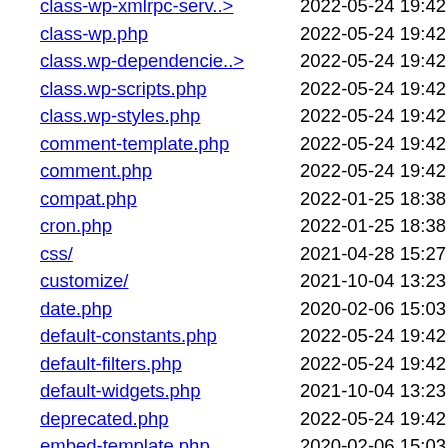class-wp-xmlrpc-serv..> 2022-05-24 19:42 208K
class-wp.php 2022-05-24 19:42 25K
class.wp-dependencie..> 2022-05-24 19:42 14K
class.wp-scripts.php 2022-05-24 19:42 19K
class.wp-styles.php 2022-05-24 19:42 11K
comment-template.php 2022-05-24 19:42 94K
comment.php 2022-05-24 19:42 123K
compat.php 2022-01-25 18:38 15K
cron.php 2022-01-25 18:38 40K
css/ 2021-04-28 15:27 -
customize/ 2021-10-04 13:23 -
date.php 2020-02-06 15:03 406
default-constants.php 2022-05-24 19:42 10K
default-filters.php 2022-05-24 19:42 30K
default-widgets.php 2021-10-04 13:23 2.2K
deprecated.php 2022-05-24 19:42 125K
embed-template.php 2020-02-06 15:03 341
embed.php 2022-05-24 19:42 36K
error-protection.php 2022-05-24 19:42 4.0K
feed-atom-comments.php 2020-02-10 01:25 5.3K
feed-atom.php 2022-01-25 18:38 3.0K